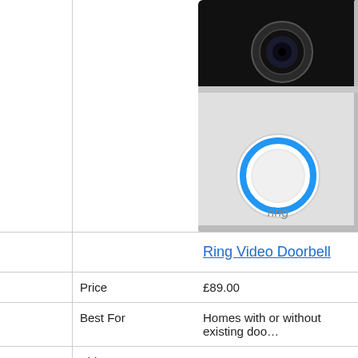[Figure (photo): Ring Video Doorbell product photo — a white/silver smart doorbell with a black camera module at top, a circular blue-ringed button in the middle, and 'ring' text at the bottom, cropped on the right side of the page.]
|  | Ring Video Doorbell |
| --- | --- |
| Price | £89.00 |
| Best For | Homes with or without existing doo… |
| Video Resolution | 720p HD |
| Power Source | Battery or Hardwired |